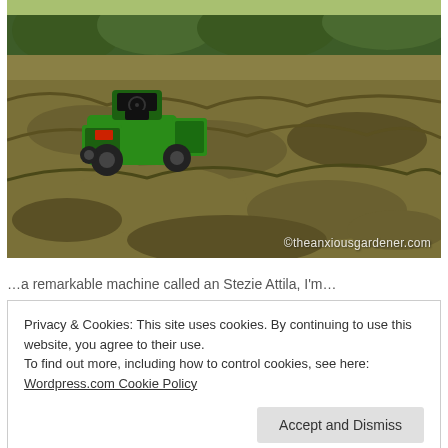[Figure (photo): Aerial view of a green ride-on mower/tractor on a field of cut dry grass/hay, with trees in the background. Watermark reads ©theanxiousgardener.com]
… a remarkable machine called an Stezie Attila, I'm …
Privacy & Cookies: This site uses cookies. By continuing to use this website, you agree to their use.
To find out more, including how to control cookies, see here:
Wordpress.com Cookie Policy
[Accept and Dismiss]